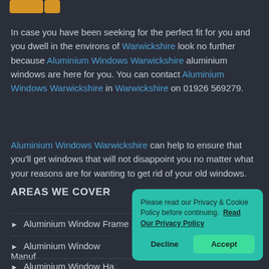[Figure (logo): Orange/yellow logo mark (partial, top of page)]
In case you have been seeking for the perfect fit for you and you dwell in the environs of Warwickshire look no further because Aluminium Windows Warwickshire aluminium windows are here for you. You can contact Aluminium Windows Warwickshire in Warwickshire on 01926 569279.
Aluminium Windows Warwickshire can help to ensure that you'll get windows that will not disappoint you no matter what your reasons are for wanting to get rid of your old windows.
AREAS WE COVER
Aluminium Window Frame
Aluminium Window Manuf
Aluminium Window ...
Please read our Privacy & Cookie Policy before continuing. Read Our Privacy Policy
Decline   Accept